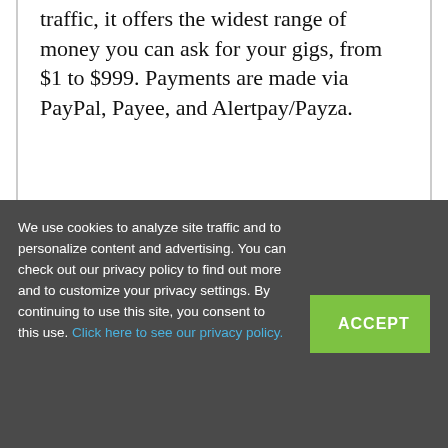traffic, it offers the widest range of money you can ask for your gigs, from $1 to $999. Payments are made via PayPal, Payee, and Alertpay/Payza.
We use cookies to analyze site traffic and to personalize content and advertising. You can check out our privacy policy to find out more and to customize your privacy settings. By continuing to use this site, you consent to this use. Click here to see our privacy policy.